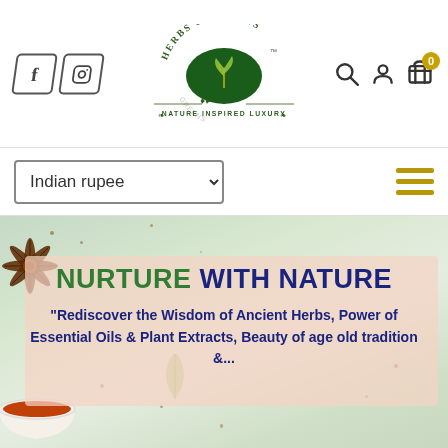[Figure (logo): Herbs & Greens logo with oval green emblem, text 'HERBS & GREENS' and tagline 'NATURE INSPIRED LUXURY']
[Figure (screenshot): Website header with Facebook and Instagram social icons on the left, Herbs & Greens logo in center, search/account/cart icons on right. Currency dropdown showing 'Indian rupee' and hamburger menu below. Hero banner with spice background, pink overlay, headline 'NURTURE WITH NATURE' and subtitle 'Rediscover the Wisdom of Ancient Herbs, Power of Essential Oils & Plant Extracts, Beauty of age old tradition &...']